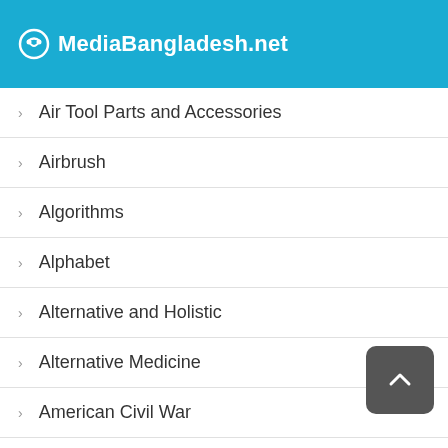MediaBangladesh.net
Air Tool Parts and Accessories
Airbrush
Algorithms
Alphabet
Alternative and Holistic
Alternative Medicine
American Civil War
American Revolution
Americana
Americas